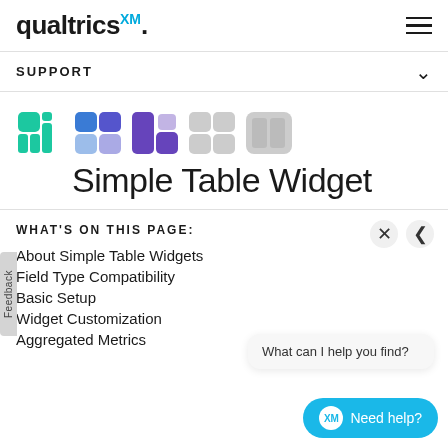qualtrics XM
SUPPORT
[Figure (logo): Qualtrics XM product icon row showing colored grid/tile icons in teal, blue, purple, and grey]
Simple Table Widget
WHAT'S ON THIS PAGE:
About Simple Table Widgets
Field Type Compatibility
Basic Setup
Widget Customization
Aggregated Metrics